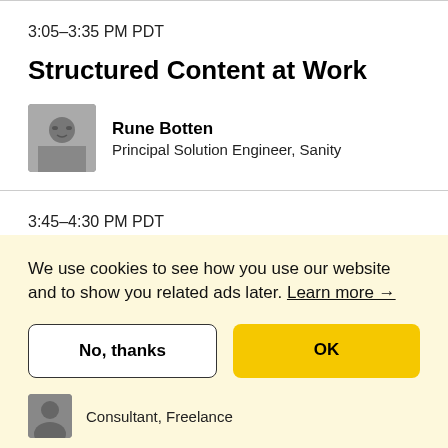3:05–3:35 PM PDT
Structured Content at Work
Rune Botten
Principal Solution Engineer, Sanity
3:45–4:30 PM PDT
We use cookies to see how you use our website and to show you related ads later. Learn more →
No, thanks
OK
Consultant, Freelance